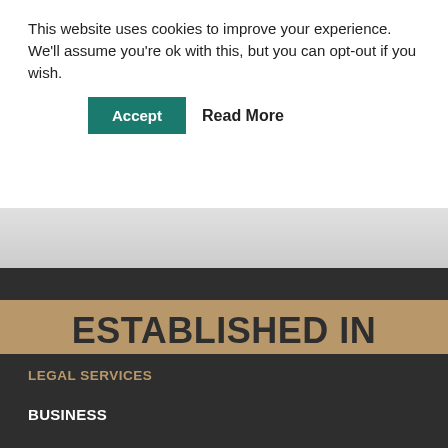This website uses cookies to improve your experience. We'll assume you're ok with this, but you can opt-out if you wish.
Accept
Read More
ESTABLISHED IN 1926...90 YEARS OF DELIVERING LEGAL ADVICE
LEGAL SERVICES
BUSINESS